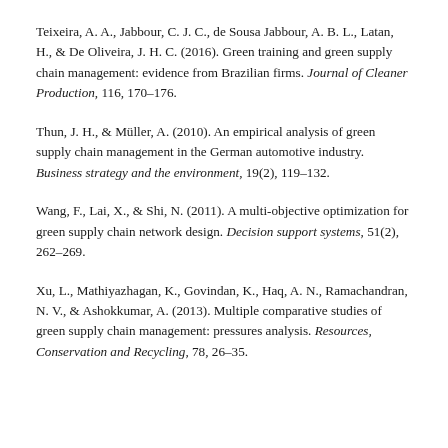Teixeira, A. A., Jabbour, C. J. C., de Sousa Jabbour, A. B. L., Latan, H., & De Oliveira, J. H. C. (2016). Green training and green supply chain management: evidence from Brazilian firms. Journal of Cleaner Production, 116, 170–176.
Thun, J. H., & Müller, A. (2010). An empirical analysis of green supply chain management in the German automotive industry. Business strategy and the environment, 19(2), 119–132.
Wang, F., Lai, X., & Shi, N. (2011). A multi-objective optimization for green supply chain network design. Decision support systems, 51(2), 262–269.
Xu, L., Mathiyazhagan, K., Govindan, K., Haq, A. N., Ramachandran, N. V., & Ashokkumar, A. (2013). Multiple comparative studies of green supply chain management: pressures analysis. Resources, Conservation and Recycling, 78, 26–35.